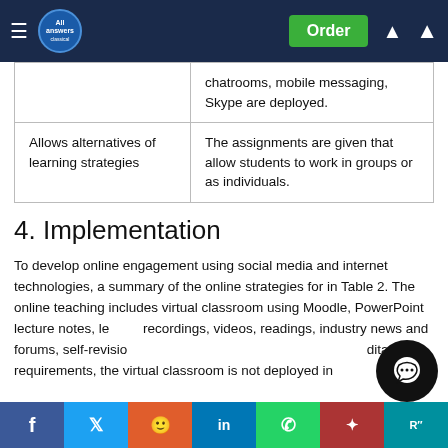AllAnswers — Order
| Allows alternatives of learning strategies | The assignments are given that allow students to work in groups or as individuals. |
4. Implementation
To develop online engagement using social media and internet technologies, a summary of the online strategies for in Table 2. The online teaching includes virtual classroom using Moodle, PowerPoint lecture notes, lecture recordings, videos, readings, industry news and forums, self-revision quizzes, online assessment and accreditation requirements, the virtual classroom is not deployed in